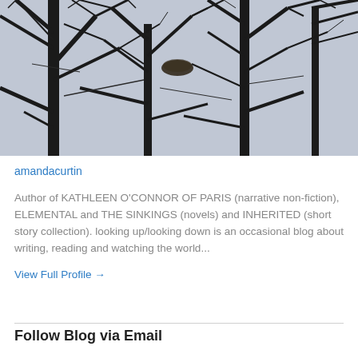[Figure (photo): Black and white photograph of bare winter tree branches against a pale grey sky, with a bird nest visible among the branches.]
amandacurtin
Author of KATHLEEN O'CONNOR OF PARIS (narrative non-fiction), ELEMENTAL and THE SINKINGS (novels) and INHERITED (short story collection). looking up/looking down is an occasional blog about writing, reading and watching the world...
View Full Profile →
Follow Blog via Email